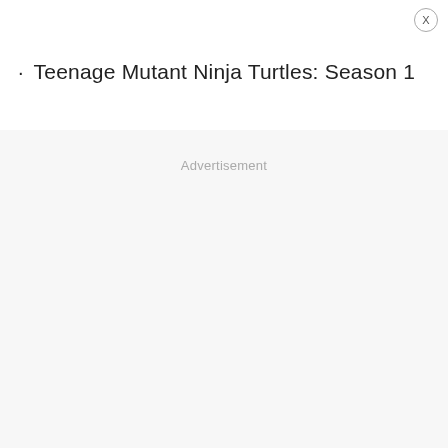X
Teenage Mutant Ninja Turtles: Season 1
Advertisement